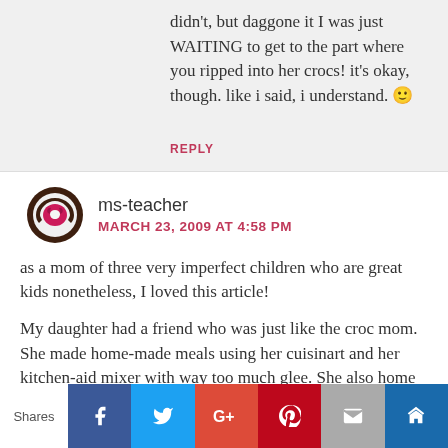didn't, but daggone it I was just WAITING to get to the part where you ripped into her crocs! it's okay, though. like i said, i understand. 🙂
REPLY
ms-teacher
MARCH 23, 2009 AT 4:58 PM
as a mom of three very imperfect children who are great kids nonetheless, I loved this article!
My daughter had a friend who was just like the croc mom. She made home-made meals using her cuisinart and her kitchen-aid mixer with way too much glee. She also home schooled, made
Shares | Facebook | Twitter | Google+ | Pinterest | Email | Crown